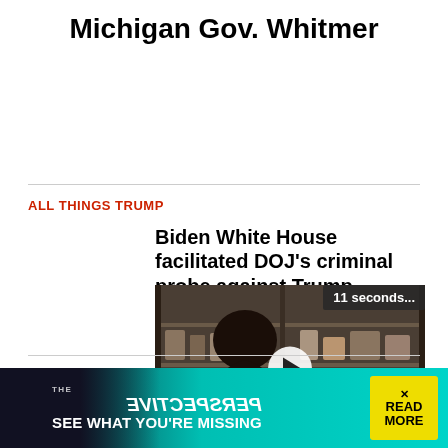Michigan Gov. Whitmer
ALL THINGS TRUMP
Biden White House facilitated DOJ's criminal probe against Trump, scuttled privilege claims: memos
[Figure (screenshot): Video player overlay showing a man from behind in front of shelving, with play button, controls bar reading '11 seconds...' timer, and Just the News logo]
CRIME
Florida m... attempt...
[Figure (advertisement): Ad banner: THE PERSPECTIVE - SEE WHAT YOU'RE MISSING with READ MORE button]